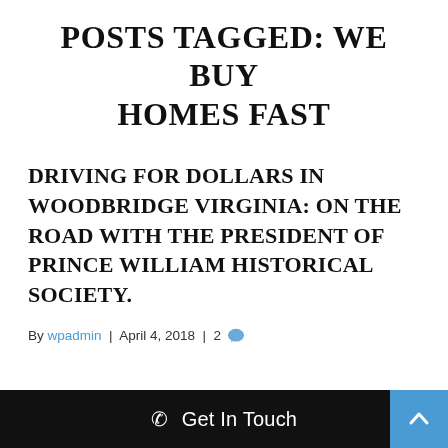POSTS TAGGED: WE BUY HOMES FAST
DRIVING FOR DOLLARS IN WOODBRIDGE VIRGINIA: ON THE ROAD WITH THE PRESIDENT OF PRINCE WILLIAM HISTORICAL SOCIETY.
By wpadmin | April 4, 2018 | 2 [comments]
Get In Touch